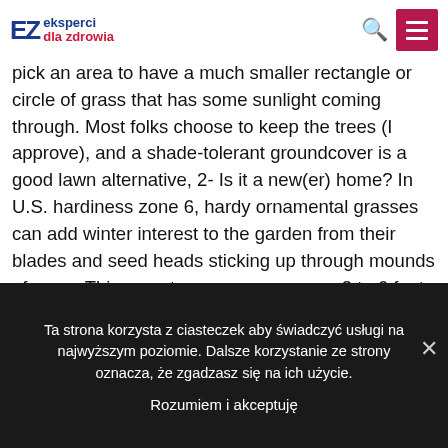EZ eksperci dla zdrowia
pick an area to have a much smaller rectangle or circle of grass that has some sunlight coming through. Most folks choose to keep the trees (I approve), and a shade-tolerant groundcover is a good lawn alternative, 2- Is it a new(er) home? In U.S. hardiness zone 6, hardy ornamental grasses can add winter interest to the garden from their blades and seed heads sticking up through mounds of snow. This easy-to-grow grass grows 3 to 6 feet tall with a 2 to 3-foot spread. Ornamental
Ta strona korzysta z ciasteczek aby świadczyć usługi na najwyższym poziomie. Dalsze korzystanie ze strony oznacza, że zgadzasz się na ich użycie.
Rozumiem i akceptuję